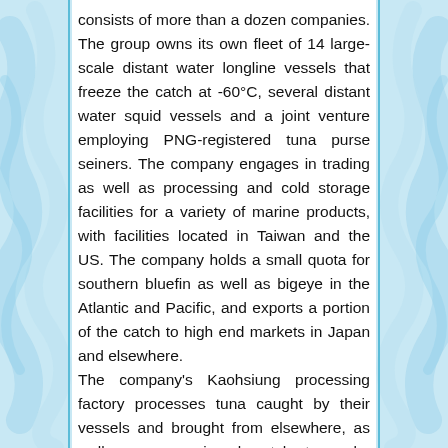consists of more than a dozen companies. The group owns its own fleet of 14 large-scale distant water longline vessels that freeze the catch at -60°C, several distant water squid vessels and a joint venture employing PNG-registered tuna purse seiners. The company engages in trading as well as processing and cold storage facilities for a variety of marine products, with facilities located in Taiwan and the US. The company holds a small quota for southern bluefin as well as bigeye in the Atlantic and Pacific, and exports a portion of the catch to high end markets in Japan and elsewhere.
The company's Kaohsiung processing factory processes tuna caught by their vessels and brought from elsewhere, as well as processing bycatch to make maximum use of the catch. For example, the Kaohsiung factory produces smoked blue shark, smoked tuna stomachs, and processed escolar roe